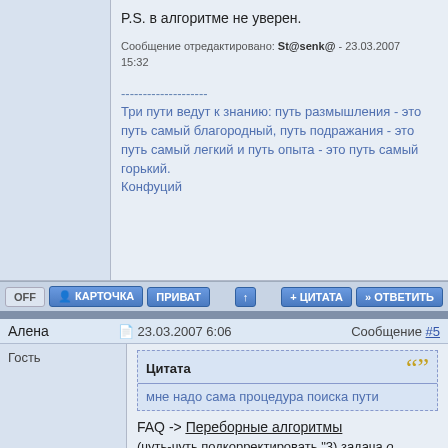P.S. в алгоритме не уверен.
Сообщение отредактировано: St@senk@ - 23.03.2007 15:32
--------------------
Три пути ведут к знанию: путь размышления - это путь самый благородный, путь подражания - это путь самый легкий и путь опыта - это путь самый горький.
Конфуций
OFF | КАРТОЧКА | ПРИВАТ | ↑ | + ЦИТАТА | » ОТВЕТИТЬ
Алена	23.03.2007 6:06	Сообщение #5
Гость
Цитата
мне надо сама процедура поиска пути
FAQ -> Переборные алгоритмы
(чуть-чуть подкорректировать "3) задача о лабиринте")